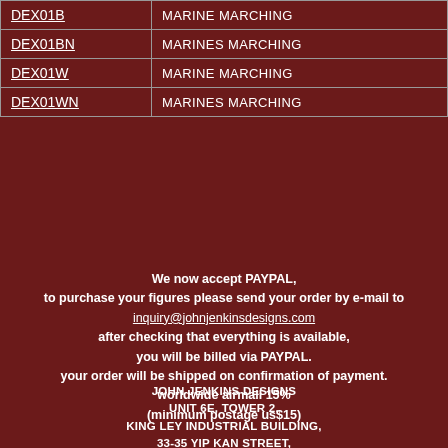| Code | Description |
| --- | --- |
| DEX01B | MARINE MARCHING |
| DEX01BN | MARINES MARCHING |
| DEX01W | MARINE MARCHING |
| DEX01WN | MARINES MARCHING |
We now accept PAYPAL, to purchase your figures please send your order by e-mail to inquiry@johnjenkinsdesigns.com after checking that everything is available, you will be billed via PAYPAL. your order will be shipped on confirmation of payment. worldwide airmail 15% (minimum postage us$15)
JOHN JENKINS DESIGNS UNIT 6E, TOWER 2, KING LEY INDUSTRIAL BUILDING, 33-35 YIP KAN STREET, WONG CHUK HANG, HONG KONG